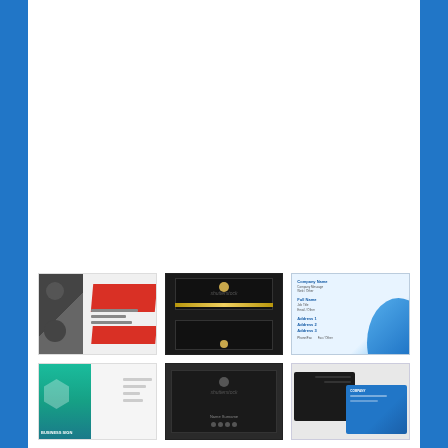[Figure (illustration): Grid of 6 business card/banner design template thumbnails arranged in 2 rows of 3, on a white background with blue side borders. Top row: red and gray dual business card design, black and gold business cards with Shutterstock watermark, blue gradient business card template. Bottom row: teal/green vertical roll-up banner, black card on dark background with Shutterstock watermark, black and blue paired business card designs.]